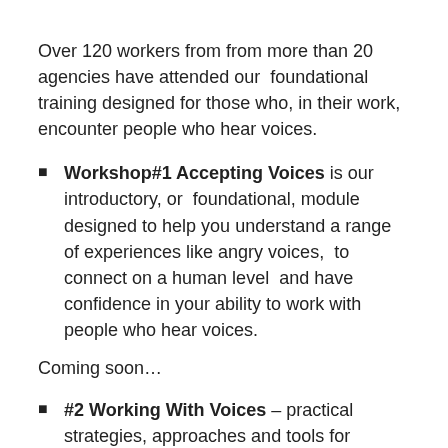Over 120 workers from from more than 20 agencies have attended our  foundational training designed for those who, in their work, encounter people who hear voices.
Workshop#1 Accepting Voices is our introductory, or  foundational, module designed to help you understand a range of experiences like angry voices,  to connect on a human level  and have confidence in your ability to work with people who hear voices.
Coming soon…
#2 Working With Voices – practical strategies, approaches and tools for working one to one with a person who hears voices – A two-day small group